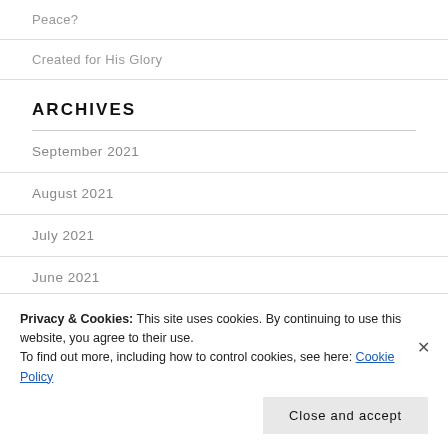Peace?
Created for His Glory
ARCHIVES
September 2021
August 2021
July 2021
June 2021
Privacy & Cookies: This site uses cookies. By continuing to use this website, you agree to their use.
To find out more, including how to control cookies, see here: Cookie Policy
Close and accept